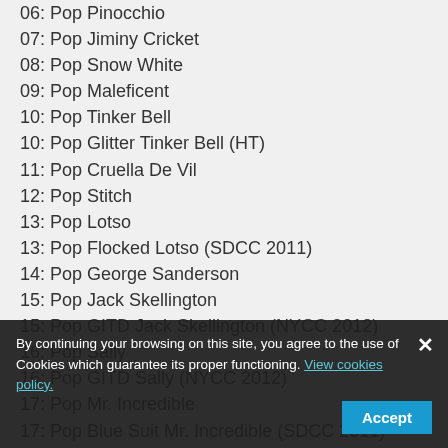06: Pop Pinocchio
07: Pop Jiminy Cricket
08: Pop Snow White
09: Pop Maleficent
10: Pop Tinker Bell
10: Pop Glitter Tinker Bell (HT)
11: Pop Cruella De Vil
12: Pop Stitch
13: Pop Lotso
13: Pop Flocked Lotso (SDCC 2011)
14: Pop George Sanderson
15: Pop Jack Skellington
15: Pop GITD Jack Skellington (NYCC 2012)
16: Pop Sally
16: Pop GITD Sally (NYCC 2012)
17: Pop Mr. Incredible
17: Pop Blue Suit Mr. Incredible (SDCC 2011)
18: Pop Syndrome
19: Pop Jessie
20: Pop Boo
21: Pop Belle
22: Pop Beast
23: Pop Lumiere (faded/partially visible)
24: Pop Steamboat Willie
24: Pop Metallic Steamboat Willie (SDCC 2011)
25: Pop ...